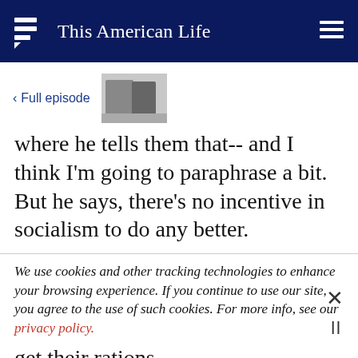This American Life
[Figure (photo): Black and white photo of two people standing together]
where he tells them that-- and I think I'm going to paraphrase a bit. But he says, there's no incentive in socialism to do any better.
We use cookies and other tracking technologies to enhance your browsing experience. If you continue to use our site, you agree to the use of such cookies. For more info, see our privacy policy.
get their rations.